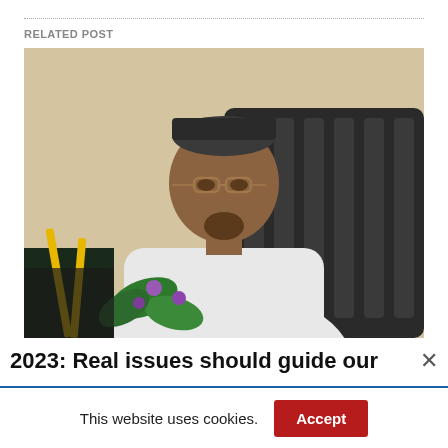RELATED POST
[Figure (photo): A man wearing a traditional Nigerian cap and glasses, dressed in a white garment, seated at a desk with flowers and greenery in the foreground and a dark chair visible in the background.]
2023: Real issues should guide our
[Figure (other): Advertisement banner with icon and text: Hydraulic press manufacturer, with blue forward/close buttons]
This website uses cookies.
Accept